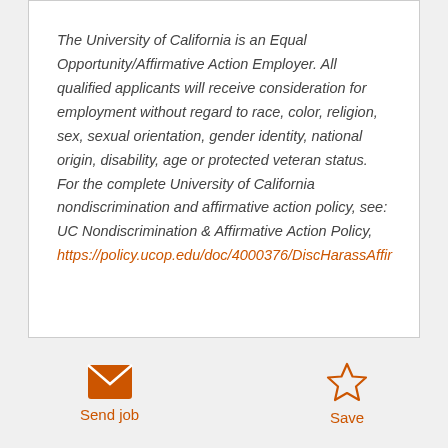The University of California is an Equal Opportunity/Affirmative Action Employer. All qualified applicants will receive consideration for employment without regard to race, color, religion, sex, sexual orientation, gender identity, national origin, disability, age or protected veteran status. For the complete University of California nondiscrimination and affirmative action policy, see: UC Nondiscrimination & Affirmative Action Policy, https://policy.ucop.edu/doc/4000376/DiscHarassAffir
Send job
Save